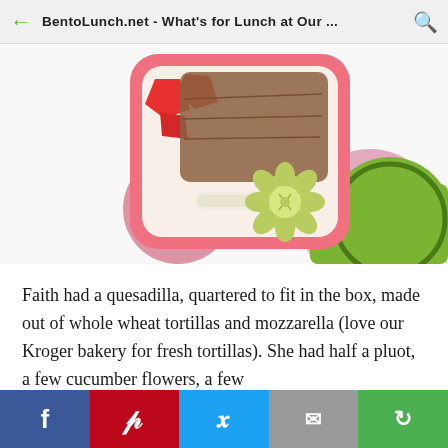BentoLunch.net - What's for Lunch at Our ...
[Figure (photo): Top-down photo of a pink bento box containing a whole wheat tortilla quesadilla, strawberry pieces, cucumber flower shapes, and a mozzarella stick, with decorative pink and green circles in the background.]
Faith had a quesadilla, quartered to fit in the box, made out of whole wheat tortillas and mozzarella (love our Kroger bakery for fresh tortillas). She had half a pluot, a few cucumber flowers, a few